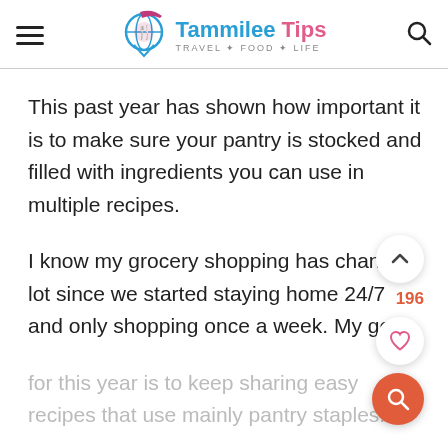Tammilee Tips — TRAVEL+FOOD+LIFE
This past year has shown how important it is to make sure your pantry is stocked and filled with ingredients you can use in multiple recipes.
I know my grocery shopping has changed a lot since we started staying home 24/7 and only shopping once a week. My goal for this year is to keep sharing easy recipes that use mainly pantry staples. I